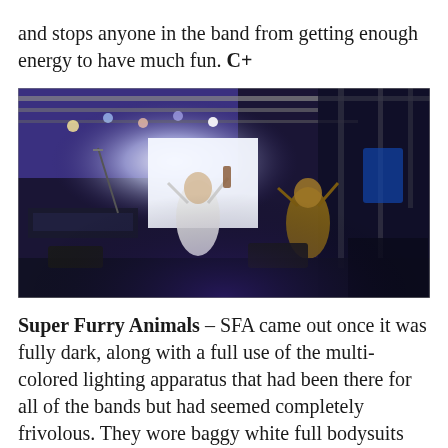and stops anyone in the band from getting enough energy to have much fun. C+
[Figure (photo): Concert photo showing band members in white full bodysuits performing on a dark stage with blue/purple lighting and metal truss rigging overhead]
Super Furry Animals – SFA came out once it was fully dark, along with a full use of the multi-colored lighting apparatus that had been there for all of the bands but had seemed completely frivolous. They wore baggy white full bodysuits that looked like they belonged to NASA that shone with all the rainbows projected onto them.There were props–